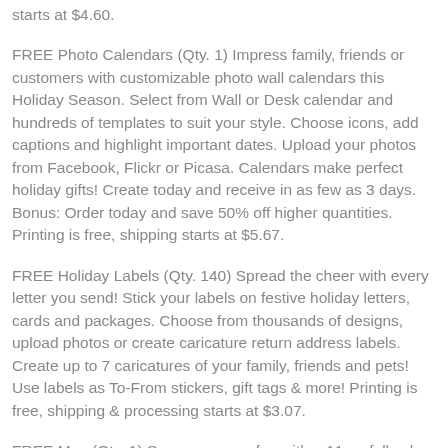starts at $4.60.
FREE Photo Calendars (Qty. 1) Impress family, friends or customers with customizable photo wall calendars this Holiday Season. Select from Wall or Desk calendar and hundreds of templates to suit your style. Choose icons, add captions and highlight important dates. Upload your photos from Facebook, Flickr or Picasa. Calendars make perfect holiday gifts! Create today and receive in as few as 3 days. Bonus: Order today and save 50% off higher quantities. Printing is free, shipping starts at $5.67.
FREE Holiday Labels (Qty. 140) Spread the cheer with every letter you send! Stick your labels on festive holiday letters, cards and packages. Choose from thousands of designs, upload photos or create caricature return address labels. Create up to 7 caricatures of your family, friends and pets! Use labels as To-From stickers, gift tags & more! Printing is free, shipping & processing starts at $3.07.
FREE Mug (Qty. 1) Serve up some fun with a 11-oz full color ceramic mug. Choose from a variety of designs and